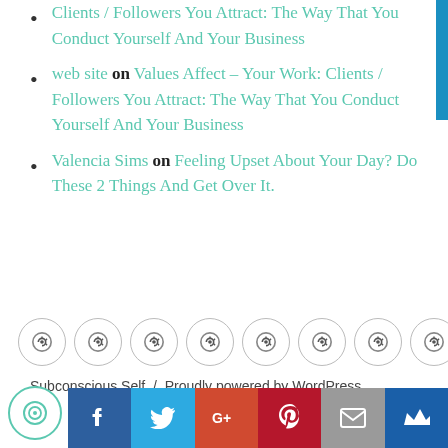web site on Values Affect – Your Work: Clients / Followers You Attract: The Way That You Conduct Yourself And Your Business
Valencia Sims on Feeling Upset About Your Day? Do These 2 Things And Get Over It.
[Figure (other): Row of 8 circular icon buttons with a share/sync icon inside each]
Subconscious Self  /  Proudly powered by WordPress
[Figure (other): Social sharing bar with chat bubble, Facebook, Twitter, Google+, Pinterest, Email, and crown/bookmark icons]